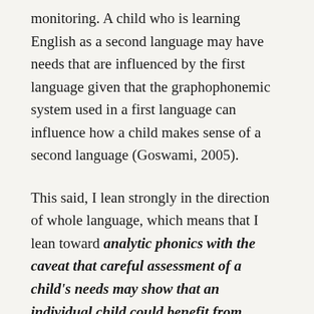monitoring. A child who is learning English as a second language may have needs that are influenced by the first language given that the graphophonemic system used in a first language can influence how a child makes sense of a second language (Goswami, 2005).
This said, I lean strongly in the direction of whole language, which means that I lean toward analytic phonics with the caveat that careful assessment of a child's needs may show that an individual child could benefit from synthetic phonics too (emphasis is mine, Sam). For further discussion of the mixed findings in this area see Donawerth & Young, 2012).